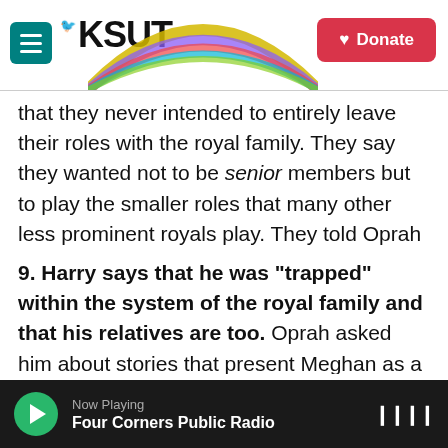KSUT — Donate
that they never intended to entirely leave their roles with the royal family. They say they wanted not to be senior members but to play the smaller roles that many other less prominent royals play. They told Oprah they did not get the support they needed to make that possible.
9. Harry says that he was "trapped" within the system of the royal family and that his relatives are too. Oprah asked him about stories that present Meghan as a manipulator who coerced him into leaving the family. Would he have left if not for her, she asked. He spun this question in precisely
Now Playing — Four Corners Public Radio